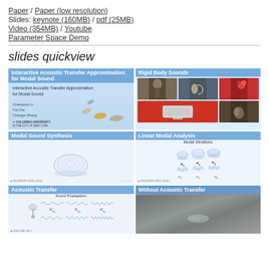Paper / Paper (low resolution)
Slides: keynote (160MB) / pdf (25MB)
Video (354MB) / Youtube
Parameter Space Demo
slides quickview
[Figure (screenshot): Six presentation slide thumbnails arranged in a 2x3 grid. Top-left: Interactive Acoustic Transfer Approximation for Modal Sound (blue header, authors Changxi Zheng, Columbia University, coins falling). Top-right: Rigid Body Sounds (blue header, photo grid of bell, trumpet, phone, glasses). Middle-left: Modal Sound Synthesis (blue header, decorative plate). Middle-right: Linear Modal Analysis (blue header, modal vibrations diagram with u1, u2, u3). Bottom-left: Acoustic Transfer with Sound Propagation diagram showing P_w1, P_w2, P_w3. Bottom-right: Without Acoustic Transfer (dark grey background with blurry object).]